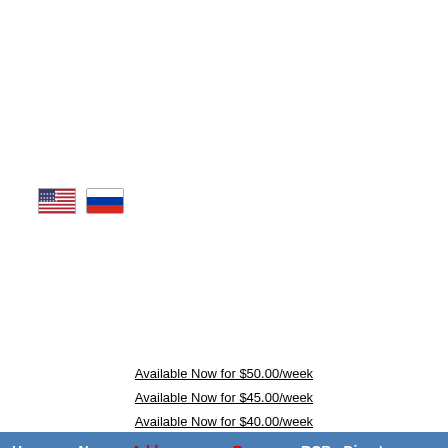[Figure (illustration): US flag icon and Russian flag icon side by side]
Available Now for $50.00/week
Available Now for $45.00/week
Available Now for $40.00/week
Buy rotating banner here right now for $40.00/week
Home » News Add program Banners RCB Directory
Search program
Members
Username:
Available Now for $27.00/week
Available Now for $26.00/week
Available Now for $25.00/week
COINES Details Vote Now Payouts Traffic Whois Report Scam Request RCB Get Code